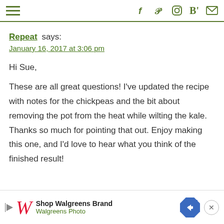Navigation menu and social icons: Facebook, Pinterest, Instagram, Bloglovin, Email
Repeat says:
January 16, 2017 at 3:06 pm

Hi Sue,
These are all great questions! I've updated the recipe with notes for the chickpeas and the bit about removing the pot from the heat while wilting the kale. Thanks so much for pointing that out. Enjoy making this one, and I'd love to hear what you think of the finished result!
[Figure (infographic): Advertisement banner: Shop Walgreens Brand, Walgreens Photo, with Walgreens W logo, navigation arrow icon, and close button]